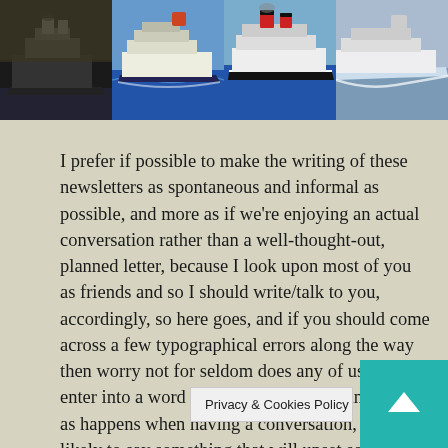[Figure (photo): Strip of four photographs of large ocean liner / cruise ships at sea]
I prefer if possible to make the writing of these newsletters as spontaneous and informal as possible, and more as if we're enjoying an actual conversation rather than a well-thought-out, planned letter, because I look upon most of you as friends and so I should write/talk to you, accordingly, so here goes, and if you should come across a few typographical errors along the way then worry not for seldom does any of us ever enter into a word perfect conversation and also, as happens when having a conversation, I'm quite likely to say something that will upset someone somewhere in the world, especially in this day age, so fi[nding a policy that] llows some almost a[...]
Privacy & Cookies Policy